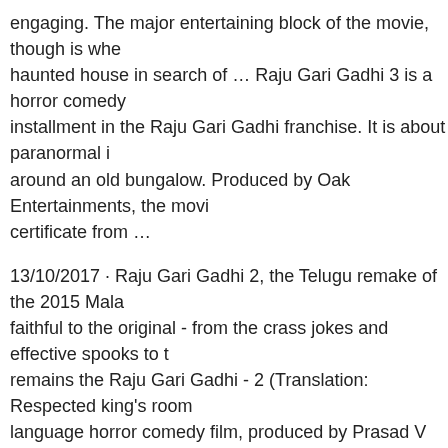engaging. The major entertaining block of the movie, though is when haunted house in search of … Raju Gari Gadhi 3 is a horror comedy installment in the Raju Gari Gadhi franchise. It is about paranormal i around an old bungalow. Produced by Oak Entertainments, the movi certificate from …
13/10/2017 · Raju Gari Gadhi 2, the Telugu remake of the 2015 Mala faithful to the original - from the crass jokes and effective spooks to t remains the Raju Gari Gadhi - 2 (Translation: Respected king's room language horror comedy film, produced by Prasad V Potluri under PV Entertainments, OAK Entertainments banner and directed by Ohmka Akkineni, Samantha Akkineni, Seerat Kapoor in the lead roles and m Thaman. The film is sequel to Telugu film Raju Gari Gadhi (2015).
13/10/2017 · Raju Gari Gadhi 2 REVIEW and RATING on Telugu F movie ft. Nagarjuna, Samantha, Seerat Kappor & Ashwin Babu. #RG hit 2015 Telugu movie Raju Raju Gari Gadhi 3 Movie Review,Raju G Gari Gadhi 3 Raing,Raju Gari Gadhi 3 Public Talk,Raju Gari Gadhi 3 Gadhi 3 Movie Collections,Raju Gari Gadhi 3 Review and Rating,Ra